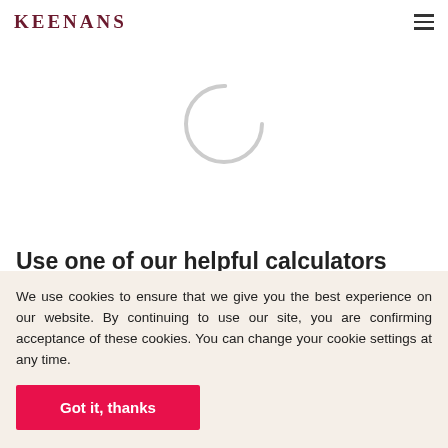KEENANS
[Figure (other): Loading spinner — partial circle arc in light gray, indicating a page or widget is loading]
Use one of our helpful calculators
We use cookies to ensure that we give you the best experience on our website. By continuing to use our site, you are confirming acceptance of these cookies. You can change your cookie settings at any time.
Got it, thanks